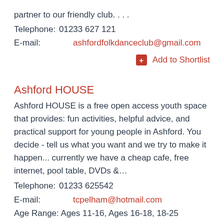partner to our friendly club. . . .
Telephone:  01233 627 121
E-mail:        ashfordfolkdanceclub@gmail.com
+ Add to Shortlist
Ashford HOUSE
Ashford HOUSE is a free open access youth space that provides: fun activities, helpful advice, and practical support for young people in Ashford. You decide - tell us what you want and we try to make it happen... currently we have a cheap cafe, free internet, pool table, DVDs &…
Telephone:  01233 625542
E-mail:        tcpelham@hotmail.com
Age Range: Ages 11-16, Ages 16-18, 18-25